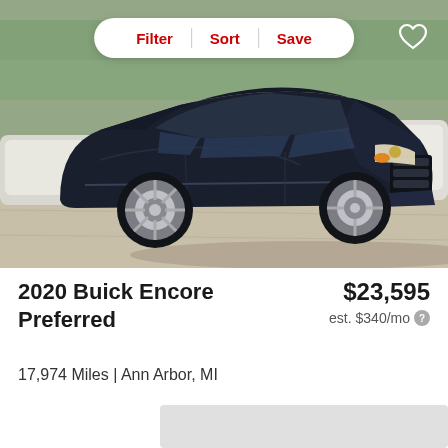[Figure (photo): Dark navy blue 2020 Buick Encore Preferred SUV parked in a lot, front three-quarter view. Other vehicles visible in background with trees.]
Filter | Sort | Save
2020 Buick Encore Preferred
$23,595
est. $340/mo
17,974 Miles | Ann Arbor, MI